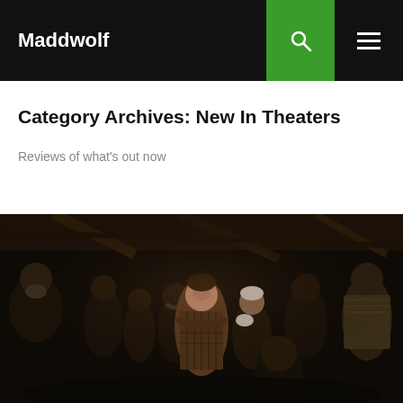Maddwolf
Category Archives: New In Theaters
Reviews of what's out now
[Figure (photo): A dark film still showing a group of people standing in a dim barn or wooden structure. A woman in a plaid dress stands at the center with arms crossed, surrounded by several men and women of various ages, all with serious expressions. The lighting is dark and moody.]